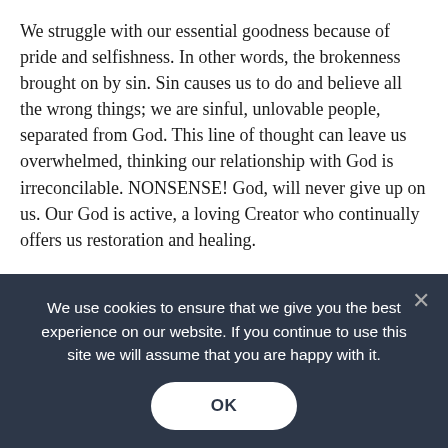We struggle with our essential goodness because of pride and selfishness. In other words, the brokenness brought on by sin. Sin causes us to do and believe all the wrong things; we are sinful, unlovable people, separated from God. This line of thought can leave us overwhelmed, thinking our relationship with God is irreconcilable. NONSENSE! God, will never give up on us. Our God is active, a loving Creator who continually offers us restoration and healing.
Our Scripture readings remind us to be vigilant and ready for the Lord. When we lack confidence or become discouraged, ask God for the gift of faith. Remember, as a theological virtue, faith is a gift, and when we accept it, we affirm God, His kingdom, and the truth of His decree – that our world is indeed good, and even
We use cookies to ensure that we give you the best experience on our website. If you continue to use this site we will assume that you are happy with it.